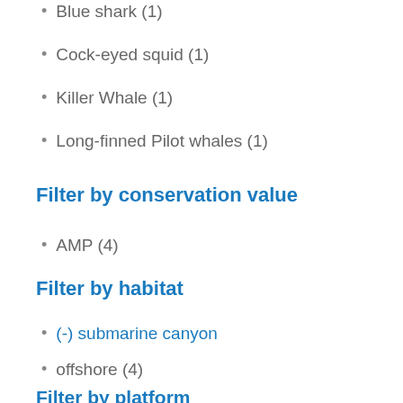Blue shark (1)
Cock-eyed squid (1)
Killer Whale (1)
Long-finned Pilot whales (1)
Filter by conservation value
AMP (4)
Filter by habitat
(-) submarine canyon
offshore (4)
Pelagic (4)
Filter by platform